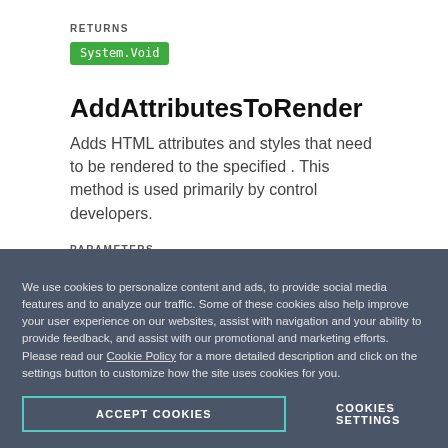RETURNS
System.Void
AddAttributesToRender
Adds HTML attributes and styles that need to be rendered to the specified . This method is used primarily by control developers.
PARAMETERS
WRITER   System.Web.UI.HtmlTextWriter
We use cookies to personalize content and ads, to provide social media features and to analyze our traffic. Some of these cookies also help improve your user experience on our websites, assist with navigation and your ability to provide feedback, and assist with our promotional and marketing efforts. Please read our Cookie Policy for a more detailed description and click on the settings button to customize how the site uses cookies for you.
ACCEPT COOKIES
COOKIES SETTINGS